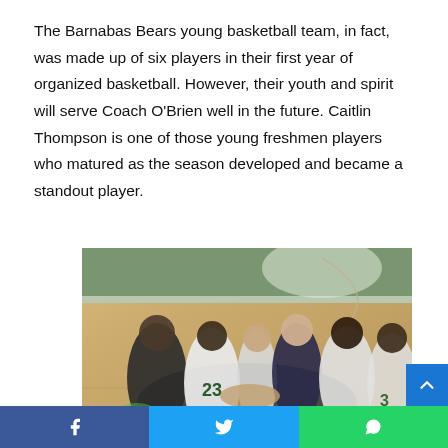The Barnabas Bears young basketball team, in fact, was made up of six players in their first year of organized basketball. However, their youth and spirit will serve Coach O'Brien well in the future. Caitlin Thompson is one of those young freshmen players who matured as the season developed and became a standout player.
[Figure (photo): Basketball team huddle on a gym court floor. Players in white uniforms with green trim, including jersey number 23, huddled with a coach in the center of a hardwood basketball court.]